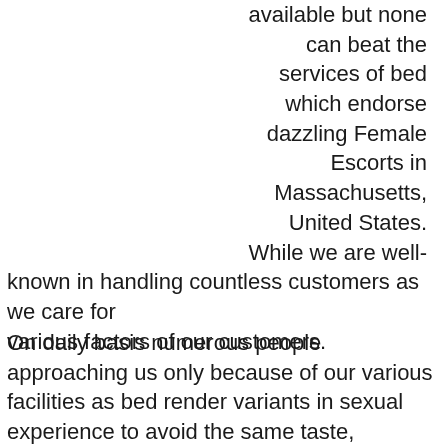available but none can beat the services of bed which endorse dazzling Female Escorts in Massachusetts, United States. While we are well-known in handling countless customers as we care for various factors of our customers.
On daily basis numerous people approaching us only because of our various facilities as bed render variants in sexual experience to avoid the same taste, updating our facilities, keep on updating our collection in Massachusetts Female Escorts by adding more randy escorts in our list regularly.